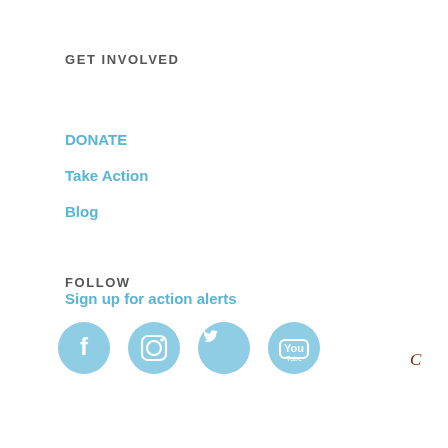GET INVOLVED
DONATE
Take Action
Blog
FOLLOW
[Figure (infographic): Four social media icons in light blue circles: Facebook, Instagram, Twitter, YouTube]
Sign up for action alerts
[Figure (logo): Small red and brown C logo in bottom right corner]